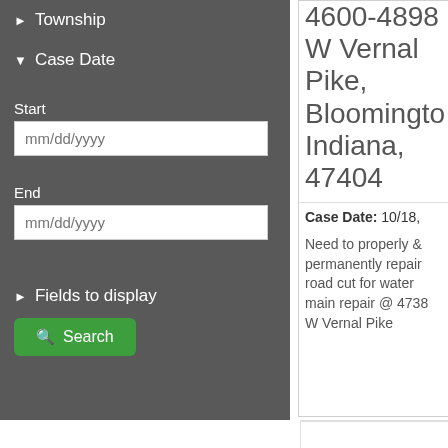► Township
▼ Case Date
Start
mm/dd/yyyy
End
mm/dd/yyyy
► Fields to display
Search
4600-4898 W Vernal Pike, Bloomington, Indiana, 47404
Case Date: 10/18,
Need to properly & permanently repair road cut for water main repair @ 4738 W Vernal Pike